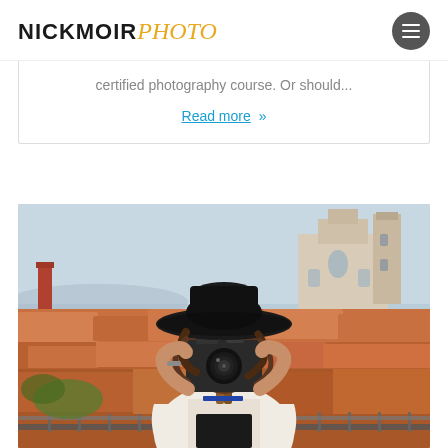NICKMOIR PHOTO
certified photography course. Or should...
Read more »
[Figure (photo): Woman wearing a black wide-brim hat holding a camera up to her face, photographing the viewer. She wears a white open-shoulder top. Background shows an Italian city rooftop panorama with terracotta-tiled roofs and a baroque church tower under a light blue sky.]